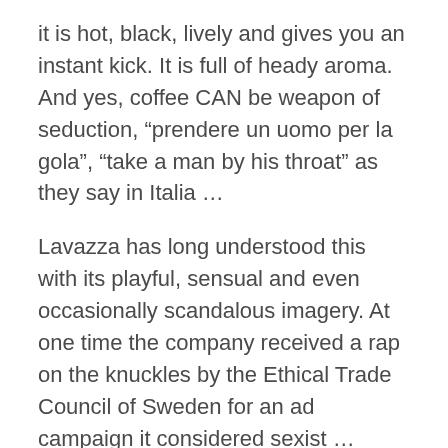it is hot, black, lively and gives you an instant kick. It is full of heady aroma. And yes, coffee CAN be weapon of seduction, “prendere un uomo per la gola”, “take a man by his throat” as they say in Italia …
Lavazza has long understood this with its playful, sensual and even occasionally scandalous imagery. At one time the company received a rap on the knuckles by the Ethical Trade Council of Sweden for an ad campaign it considered sexist …
If you plan to visit Torino with its fabulous and elegant cafes and chocolate shops, do check out the hyper-caffeinated Lavazza Museum which opened in June of 2018 at Lavazza’s